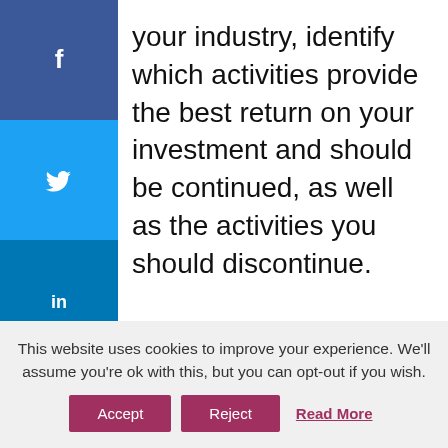your industry, identify which activities provide the best return on your investment and should be continued, as well as the activities you should discontinue.
[Figure (other): Social media sharing sidebar with Facebook, Twitter, LinkedIn, Email buttons and a '+' more button]
This website uses cookies to improve your experience. We'll assume you're ok with this, but you can opt-out if you wish. Accept Reject Read More